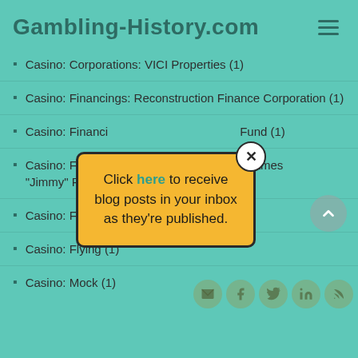Gambling-History.com
Casino: Corporations: VICI Properties (1)
Casino: Financings: Reconstruction Finance Corporation (1)
Casino: Financings: [obscured] Fund (1)
Casino: Financings: [obscured] Fund: James "Jimmy" R. Hoffa [obscured]
Casino: Floating (1)
Casino: Flying (1)
Casino: Mock (1)
[Figure (infographic): Pop-up modal overlay with yellow background and dark border. Contains text: 'Click here to receive blog posts in your inbox as they're published.' with 'here' in teal/green color. Has a circular close button with X in top-right corner.]